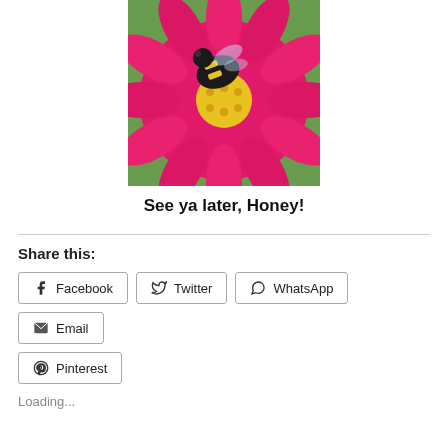[Figure (photo): Close-up photo of a bumblebee on a bright pink zinnia flower with yellow center stamens, green background blur]
See ya later, Honey!
Share this:
Facebook  Twitter  WhatsApp  Email  Pinterest
Loading...